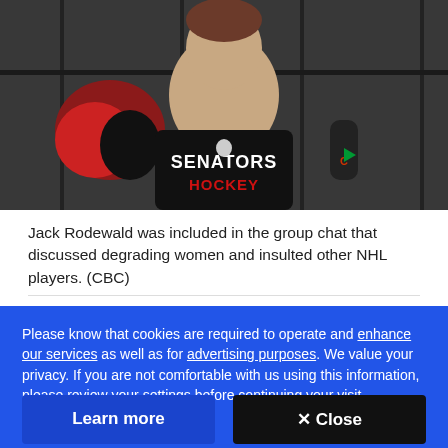[Figure (photo): A hockey player wearing a black Ottawa Senators Hockey shirt being interviewed, with a CTV microphone visible. Locker room background with equipment.]
Jack Rodewald was included in the group chat that discussed degrading women and insulted other NHL players. (CBC)
Please know that cookies are required to operate and enhance our services as well as for advertising purposes. We value your privacy. If you are not comfortable with us using this information, please review your settings before continuing your visit.